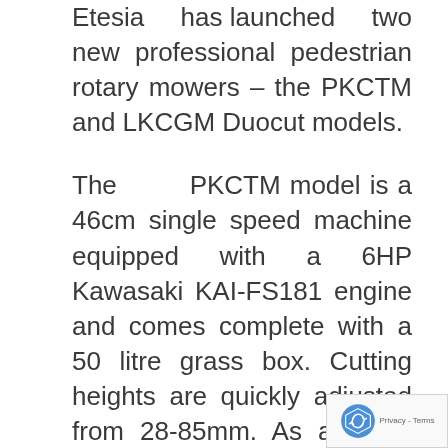Etesia has launched two new professional pedestrian rotary mowers – the PKCTM and LKCGM Duocut models.
The PKCTM model is a 46cm single speed machine equipped with a 6HP Kawasaki KAI-FS181 engine and comes complete with a 50 litre grass box. Cutting heights are quickly adjusted from 28-85mm. As a direct result of demand from local authorities and contractors, this machine has a large capacity